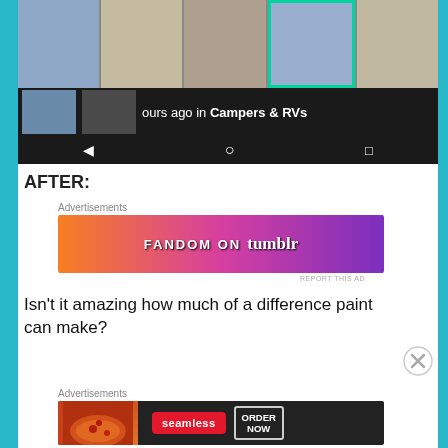[Figure (screenshot): Mobile screenshot showing a photo grid of camper/RV interior images at top, a dark row with thumbnail photos and text 'hours ago in Campers & RVs', and a black Android navigation bar with back, home, and recents icons]
AFTER:
Advertisements
[Figure (photo): Advertisement banner for Fandom on Tumblr — orange to purple gradient with decorative doodles, text reads FANDOM ON tumblr]
Isn't it amazing how much of a difference paint can make?
Advertisements
[Figure (photo): Advertisement banner for Seamless food delivery — dark background with pizza photo on left, Seamless red pill logo, and ORDER NOW button]